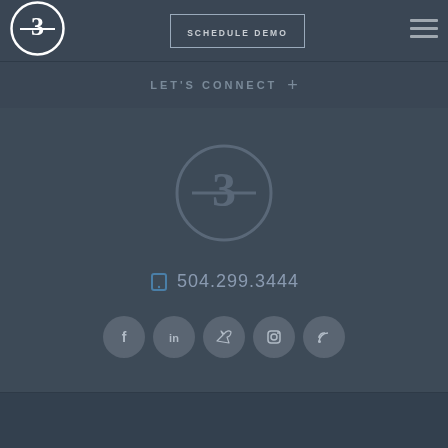[Figure (logo): Circular logo with number 3 and horizontal line accent, white on dark background]
SCHEDULE DEMO
[Figure (illustration): Hamburger menu icon (three horizontal lines)]
LET'S CONNECT +
[Figure (logo): Large circular logo with number 3 and horizontal line accent, grey on dark background, centered on page]
504.299.3444
[Figure (illustration): Social media icons row: Facebook, LinkedIn, Twitter, Instagram, RSS feed — grey circular buttons]